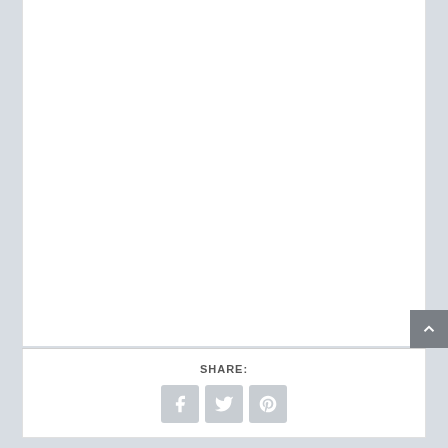[Figure (screenshot): White content area card (upper portion of page, blank)]
SHARE:
[Figure (infographic): Social share buttons: Facebook, Twitter, Pinterest icons in grey rounded squares]